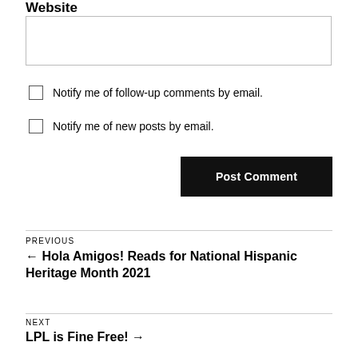Website
Notify me of follow-up comments by email.
Notify me of new posts by email.
Post Comment
PREVIOUS
← Hola Amigos! Reads for National Hispanic Heritage Month 2021
NEXT
LPL is Fine Free! →